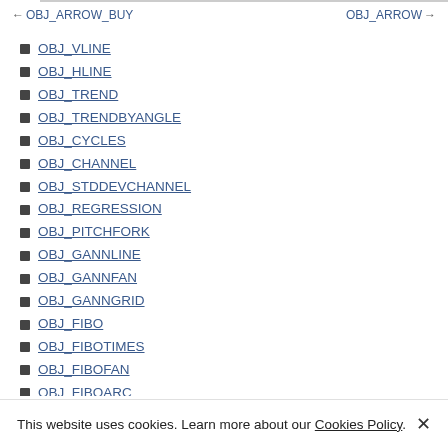← OBJ_ARROW_BUY    OBJ_ARROW →
OBJ_VLINE
OBJ_HLINE
OBJ_TREND
OBJ_TRENDBYANGLE
OBJ_CYCLES
OBJ_CHANNEL
OBJ_STDDEVCHANNEL
OBJ_REGRESSION
OBJ_PITCHFORK
OBJ_GANNLINE
OBJ_GANNFAN
OBJ_GANNGRID
OBJ_FIBO
OBJ_FIBOTIMES
OBJ_FIBOFAN
OBJ_FIBOARC
OBJ_FIBOCHANNEL
OBJ_EXPANSION
OBJ_RECTANGLE
OBJ_TRIANGLE
OBJ_ELLIPSE
OBJ_ARROW_THUMB_UP
OBJ_ARROW_THUMB_DOWN
This website uses cookies. Learn more about our Cookies Policy. ×